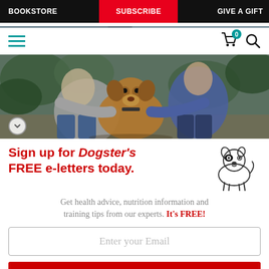BOOKSTORE | SUBSCRIBE | GIVE A GIFT
[Figure (screenshot): Utility navigation bar with hamburger menu (teal), cart icon with badge showing 0, and search icon]
[Figure (photo): Hero photo of two people crouching and hugging a tan/brown dog outdoors]
Sign up for Dogster's FREE e-letters today.
[Figure (illustration): Simple line drawing of a small cartoon dog with a black spot over one eye]
Get health advice, nutrition information and training tips from our experts. It's FREE!
Enter your Email
YES! SIGN ME UP